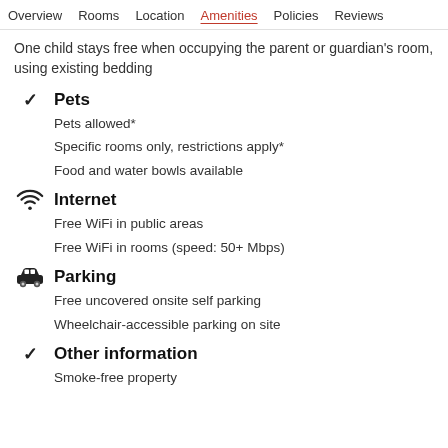Overview  Rooms  Location  Amenities  Policies  Reviews
One child stays free when occupying the parent or guardian's room, using existing bedding
Pets
Pets allowed*
Specific rooms only, restrictions apply*
Food and water bowls available
Internet
Free WiFi in public areas
Free WiFi in rooms (speed: 50+ Mbps)
Parking
Free uncovered onsite self parking
Wheelchair-accessible parking on site
Other information
Smoke-free property